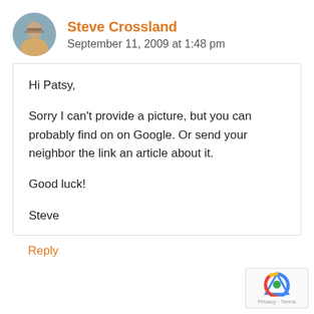Steve Crossland
September 11, 2009 at 1:48 pm
Hi Patsy,

Sorry I can't provide a picture, but you can probably find on on Google. Or send your neighbor the link an article about it.

Good luck!

Steve
Reply
[Figure (logo): reCAPTCHA badge with Privacy and Terms links]